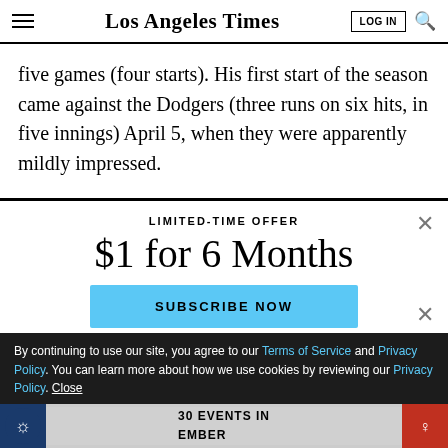Los Angeles Times
five games (four starts). His first start of the season came against the Dodgers (three runs on six hits, in five innings) April 5, when they were apparently mildly impressed.
LIMITED-TIME OFFER
$1 for 6 Months
SUBSCRIBE NOW
By continuing to use our site, you agree to our Terms of Service and Privacy Policy. You can learn more about how we use cookies by reviewing our Privacy Policy. Close